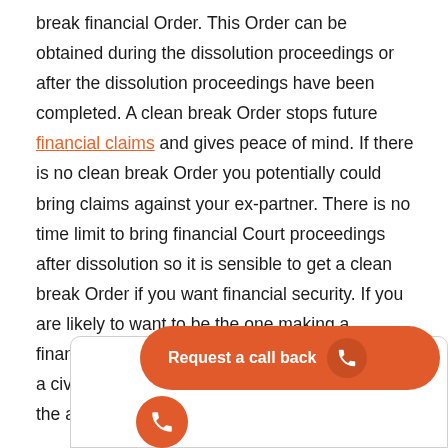break financial Order. This Order can be obtained during the dissolution proceedings or after the dissolution proceedings have been completed. A clean break Order stops future financial claims and gives peace of mind. If there is no clean break Order you potentially could bring claims against your ex-partner. There is no time limit to bring financial Court proceedings after dissolution so it is sensible to get a clean break Order if you want financial security. If you are likely to want to be the one making a financial claim you should not delay speaking to a civil partnership solicitor as waiting may affect the amount of any financial settlement.
[Figure (other): Orange 'Request a call back' button with phone icon on the right, and a separate orange circular phone icon button below on the left, overlapping a white card/box with rounded top corners.]